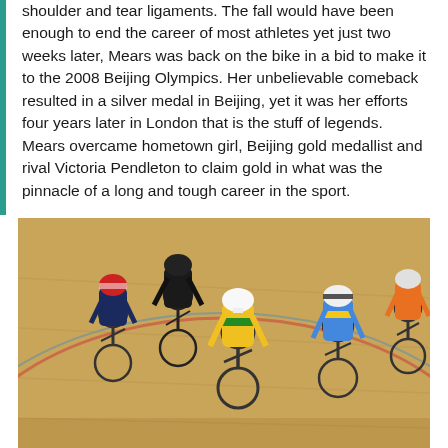shoulder and tear ligaments. The fall would have been enough to end the career of most athletes yet just two weeks later, Mears was back on the bike in a bid to make it to the 2008 Beijing Olympics. Her unbelievable comeback resulted in a silver medal in Beijing, yet it was her efforts four years later in London that is the stuff of legends. Mears overcame hometown girl, Beijing gold medallist and rival Victoria Pendleton to claim gold in what was the pinnacle of a long and tough career in the sport.
[Figure (photo): Track cyclists racing on an indoor velodrome. Multiple riders leaning forward on their bikes in competition. Riders wearing various national team kits including yellow/green (Australia), navy/red (Great Britain), black, blue/yellow, and orange (Netherlands).]